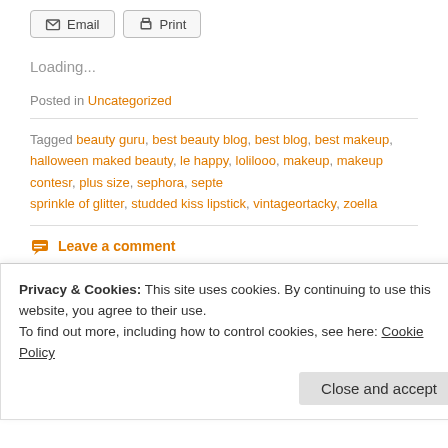[Figure (other): Email and Print buttons at top of blog page]
Loading...
Posted in Uncategorized
Tagged beauty guru, best beauty blog, best blog, best makeup, halloween make-d beauty, le happy, lolilooo, makeup, makeup contesr, plus size, sephora, septe sprinkle of glitter, studded kiss lipstick, vintageortacky, zoella
Leave a comment
November 10, 2015
Privacy & Cookies: This site uses cookies. By continuing to use this website, you agree to their use. To find out more, including how to control cookies, see here: Cookie Policy
Close and accept